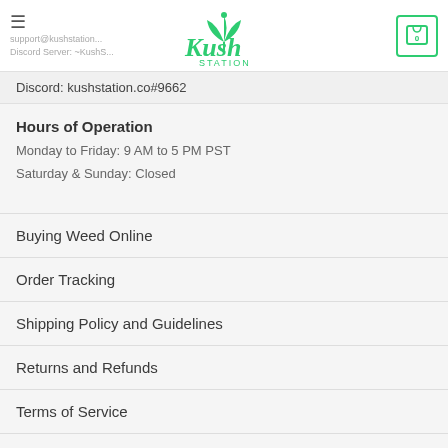support@kushstation... | ☰ | Discord Server: ~KushS... | Kush Station logo | Cart: 0
Discord: kushstation.co#9662
Hours of Operation
Monday to Friday: 9 AM to 5 PM PST
Saturday & Sunday: Closed
Buying Weed Online
Order Tracking
Shipping Policy and Guidelines
Returns and Refunds
Terms of Service
Privacy Policy